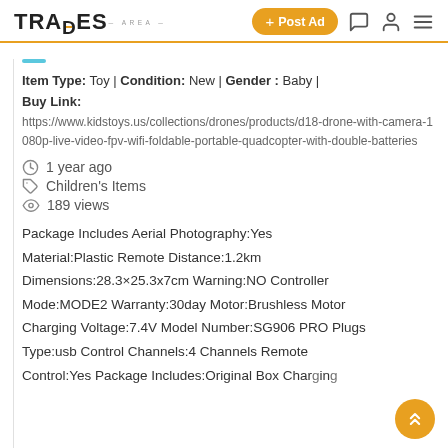TRADES AREA | + Post Ad
Item Type: Toy | Condition: New | Gender: Baby | Buy Link: https://www.kidstoys.us/collections/drones/products/d18-drone-with-camera-1080p-live-video-fpv-wifi-foldable-portable-quadcopter-with-double-batteries
1 year ago
Children's Items
189 views
Package Includes Aerial Photography:Yes Material:Plastic Remote Distance:1.2km Dimensions:28.3×25.3x7cm Warning:NO Controller Mode:MODE2 Warranty:30day Motor:Brushless Motor Charging Voltage:7.4V Model Number:SG906 PRO Plugs Type:usb Control Channels:4 Channels Remote Control:Yes Package Includes:Original Box Charging